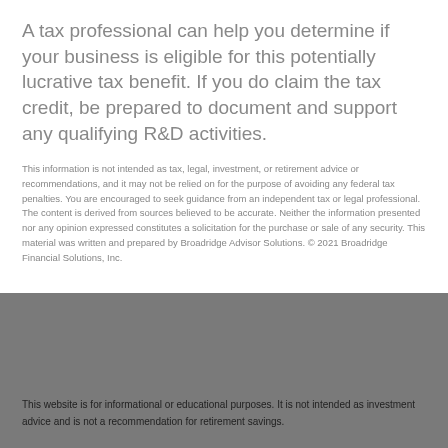A tax professional can help you determine if your business is eligible for this potentially lucrative tax benefit. If you do claim the tax credit, be prepared to document and support any qualifying R&D activities.
This information is not intended as tax, legal, investment, or retirement advice or recommendations, and it may not be relied on for the purpose of avoiding any federal tax penalties. You are encouraged to seek guidance from an independent tax or legal professional. The content is derived from sources believed to be accurate. Neither the information presented nor any opinion expressed constitutes a solicitation for the purchase or sale of any security. This material was written and prepared by Broadridge Advisor Solutions. © 2021 Broadridge Financial Solutions, Inc.
This website is for informational or educational purposes. It is not intended as investment advice and is not a recommendation for retirement savings.